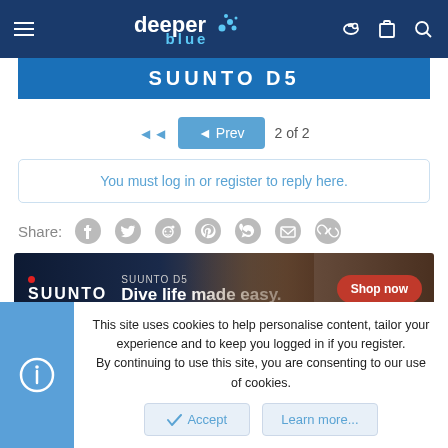deeper blue
SUUNTO D5
◄◄   ◄ Prev   2 of 2
You must log in or register to reply here.
Share:
[Figure (screenshot): Share icons: Facebook, Twitter, Reddit, Pinterest, WhatsApp, Email, Link]
[Figure (infographic): Suunto D5 advertisement banner: SUUNTO logo, SUUNTO D5, Dive life made easy., Shop now button, people in background]
This site uses cookies to help personalise content, tailor your experience and to keep you logged in if you register.
By continuing to use this site, you are consenting to our use of cookies.
Accept   Learn more...